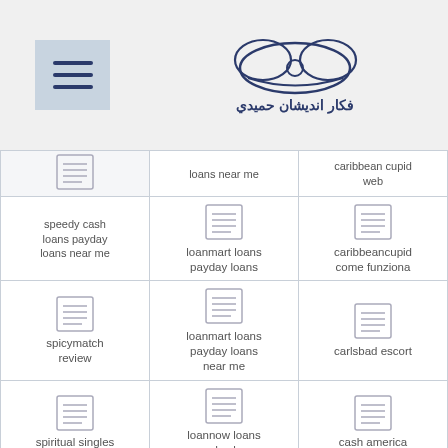[Figure (logo): Hamburger menu button icon (three horizontal lines on blue-grey background)]
[Figure (logo): Website logo with Arabic/Persian script text and decorative element]
| Col1 | Col2 | Col3 |
| --- | --- | --- |
| [icon] | loans near me | caribbean cupid web |
| speedy cash loans payday loans near me | [icon] loanmart loans payday loans | [icon] caribbeancupid come funziona |
| [icon] spicymatch review | [icon] loanmart loans payday loans near me | [icon] carlsbad escort |
| [icon] spiritual singles sito di incontri | [icon] loannow loans payday loan online | [icon] cash america installment loan |
| [icon] spotloan loans payday loans | [icon] | [icon] cash america |